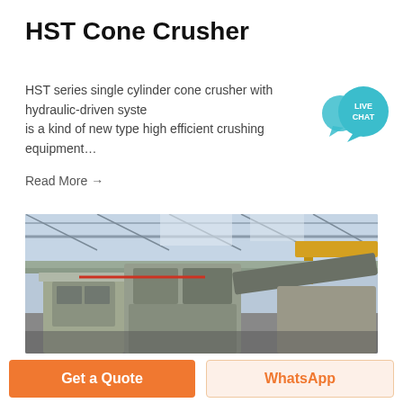HST Cone Crusher
HST series single cylinder cone crusher with hydraulic-driven system is a kind of new type high efficient crushing equipment...
Read More →
[Figure (photo): Industrial factory interior showing heavy mining/crushing machinery on a floor with overhead cranes and steel roof structure]
Get a Quote
WhatsApp